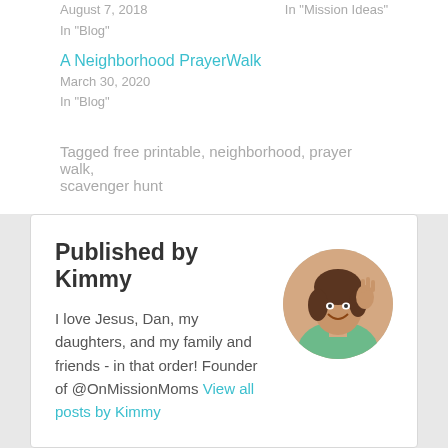August 7, 2018
In "Mission Ideas"
In "Blog"
A Neighborhood PrayerWalk
March 30, 2020
In "Blog"
Tagged free printable, neighborhood, prayer walk, scavenger hunt
Published by Kimmy
I love Jesus, Dan, my daughters, and my family and friends - in that order! Founder of @OnMissionMoms View all posts by Kimmy
[Figure (photo): Circular avatar photo of Kimmy smiling and waving]